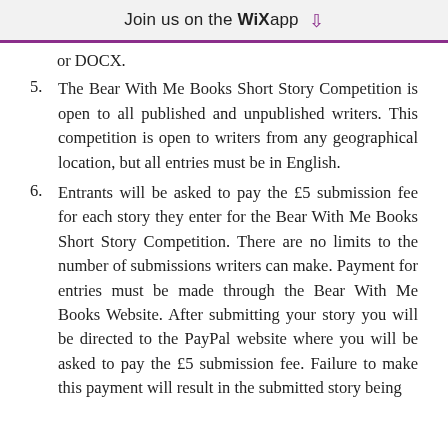Join us on the WiX app ↓
or DOCX.
5. The Bear With Me Books Short Story Competition is open to all published and unpublished writers. This competition is open to writers from any geographical location, but all entries must be in English.
6. Entrants will be asked to pay the £5 submission fee for each story they enter for the Bear With Me Books Short Story Competition. There are no limits to the number of submissions writers can make. Payment for entries must be made through the Bear With Me Books Website. After submitting your story you will be directed to the PayPal website where you will be asked to pay the £5 submission fee. Failure to make this payment will result in the submitted story being